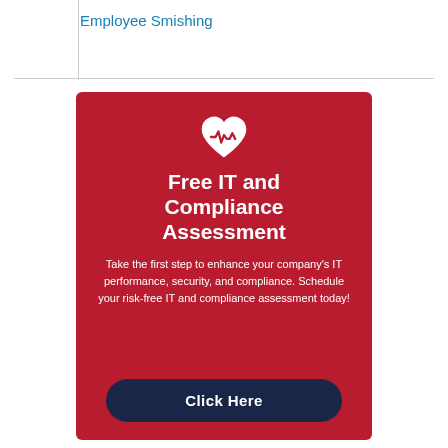Employee Smishing
[Figure (infographic): Red promotional card with a white heart/EKG icon, bold white title 'Free IT and Compliance Assessment', descriptive body text, and a dark navy 'Click Here' button.]